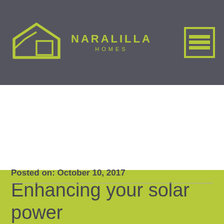NARALILLA HOMES
Enhancing your solar power
Posted on: October 10, 2017